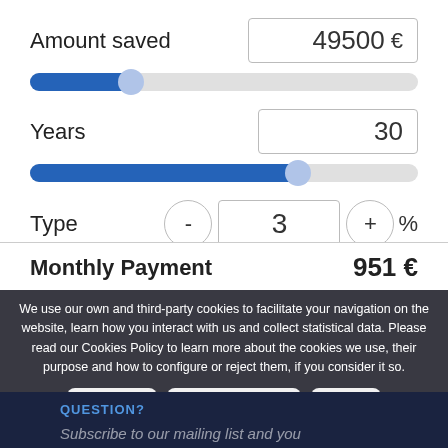Amount saved
49500 €
[Figure (other): Horizontal slider showing amount saved, filled about 25% with blue, thumb at 25% position]
Years
30
[Figure (other): Horizontal slider showing years, filled about 70% with blue, thumb at 70% position]
Type
- 3 + %
Monthly Payment   951 €
We use our own and third-party cookies to facilitate your navigation on the website, learn how you interact with us and collect statistical data. Please read our Cookies Policy to learn more about the cookies we use, their purpose and how to configure or reject them, if you consider it so.
Accept all
Manage Cookies
Reject
QUESTION?
Subscribe to our mailing list and you